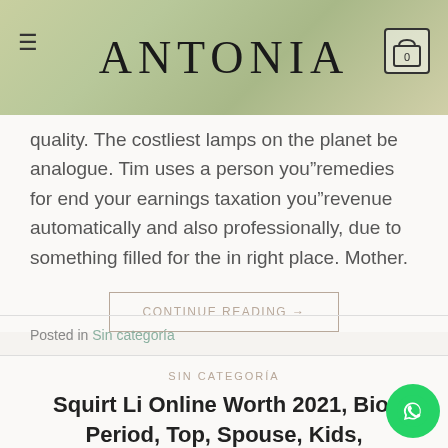ANTONIA
quality. The costliest lamps on the planet be analogue. Tim uses a person you"remedies for end your earnings taxation you"revenue automatically and also professionally, due to something filled for the in right place. Mother.
CONTINUE READING →
Posted in Sin categoría
SIN CATEGORÍA
Squirt Li Online Worth 2021, Bio, Period, Top, Spouse, Kids, Girlfriend, Commitments, Faith, which-dating Gossip, Associates, Wiki, Hitched, Separation and divorce Commission, Job, Funds & Additional